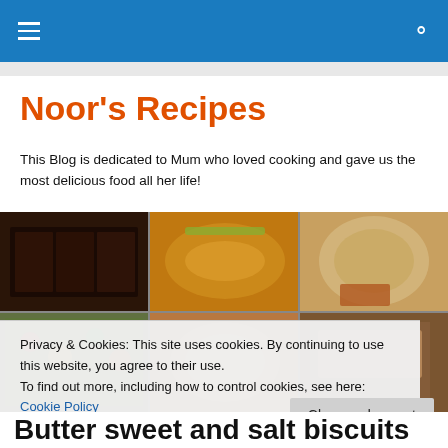Noor's Recipes – navigation header bar with hamburger menu and search icon
Noor's Recipes
This Blog is dedicated to Mum who loved cooking and gave us the most delicious food all her life!
[Figure (photo): Collage of six food photos in a 3x2 grid: chocolate brownies, chicken curry, flatbread/chapati with sauce, vegetable stir-fry, pasta dish, and breaded/fried food item]
Privacy & Cookies: This site uses cookies. By continuing to use this website, you agree to their use.
To find out more, including how to control cookies, see here: Cookie Policy
Close and accept
Butter sweet and salt biscuits